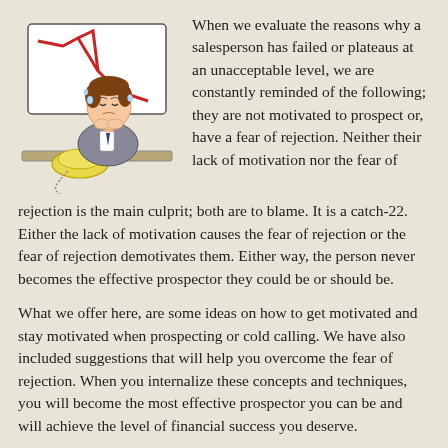[Figure (illustration): Cartoon of a distressed salesperson sitting at a desk with a telephone, behind them is a chart showing a declining red line. The person has their hands clasped near their face in a worried pose.]
When we evaluate the reasons why a salesperson has failed or plateaus at an unacceptable level, we are constantly reminded of the following; they are not motivated to prospect or, have a fear of rejection. Neither their lack of motivation nor the fear of rejection is the main culprit; both are to blame. It is a catch-22. Either the lack of motivation causes the fear of rejection or the fear of rejection demotivates them. Either way, the person never becomes the effective prospector they could be or should be.
What we offer here, are some ideas on how to get motivated and stay motivated when prospecting or cold calling. We have also included suggestions that will help you overcome the fear of rejection. When you internalize these concepts and techniques, you will become the most effective prospector you can be and will achieve the level of financial success you deserve.
Believe in it: it works.